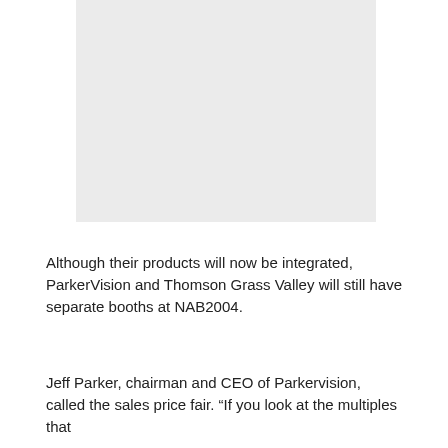[Figure (photo): A gray placeholder image block, approximately rectangular, centered in the upper portion of the page.]
Although their products will now be integrated, ParkerVision and Thomson Grass Valley will still have separate booths at NAB2004.
Jeff Parker, chairman and CEO of Parkervision, called the sales price fair. “If you look at the multiples that